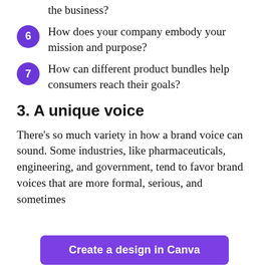the business?
6 How does your company embody your mission and purpose?
7 How can different product bundles help consumers reach their goals?
3. A unique voice
There’s so much variety in how a brand voice can sound. Some industries, like pharmaceuticals, engineering, and government, tend to favor brand voices that are more formal, serious, and sometimes
Create a design in Canva